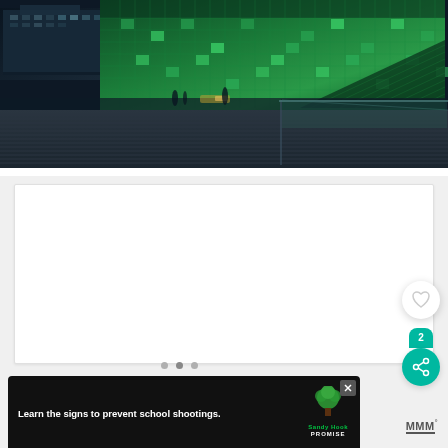[Figure (photo): Night-time photograph of the Harpa Concert Hall in Reykjavik, Iceland. The building features a distinctive green illuminated glass facade with a geometric honeycomb-like pattern. In the foreground, a wooden boardwalk/walkway extends diagonally. The sky is deep blue (twilight). The building glows with teal and green lights.]
[Figure (screenshot): White card/content area below the photo, part of a web or app interface. Contains pagination dots, a heart (like/favorite) button, a share button with count of 2, and an advertisement banner at the bottom reading 'Learn the signs to prevent school shootings.' with a Sandy Hook Promise logo and tree graphic. A Monocle logo appears at bottom right.]